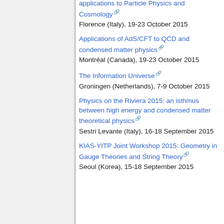Tools for String Phenomenology with applications to Particle Physics and Cosmology
Florence (Italy), 19-23 October 2015
Applications of AdS/CFT to QCD and condensed matter physics
Montréal (Canada), 19-23 October 2015
The Information Universe
Groningen (Netherlands), 7-9 October 2015
Physics on the Riviera 2015: an isthmus between high energy and condensed matter theoretical physics
Sestri Levante (Italy), 16-18 September 2015
KIAS-YITP Joint Workshop 2015: Geometry in Gauge Theories and String Theory
Seoul (Korea), 15-18 September 2015